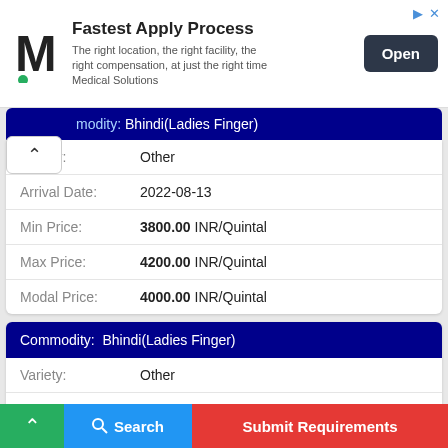[Figure (other): Advertisement banner: M Medical Solutions logo, 'Fastest Apply Process' headline, body text 'The right location, the right facility, the right compensation, at just the right time Medical Solutions', and an 'Open' button]
Commodity: Bhindi(Ladies Finger)
Variety: Other
Arrival Date: 2022-08-13
Min Price: 3800.00 INR/Quintal
Max Price: 4200.00 INR/Quintal
Modal Price: 4000.00 INR/Quintal
Commodity: Bhindi(Ladies Finger)
Variety: Other
Arrival Date: 2022-08-12
Price: ...